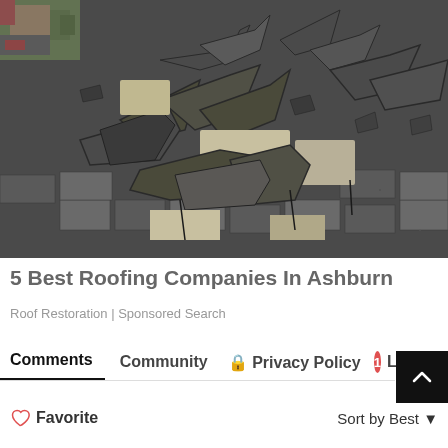[Figure (photo): Damaged roof with curled and missing asphalt shingles showing significant wind or storm damage. Some bare spots visible beneath lifted shingles. House and trees visible in background upper left.]
5 Best Roofing Companies In Ashburn
Roof Restoration | Sponsored Search
Comments  Community  Privacy Policy  1  Sort by Best  Favorite